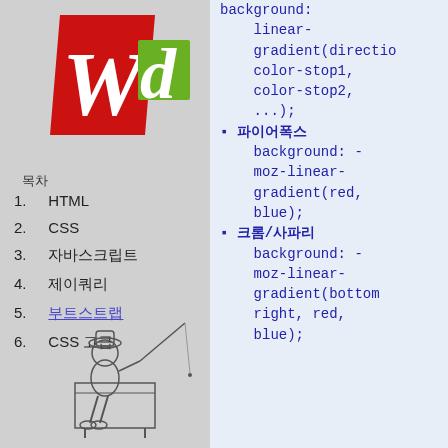[Figure (logo): Wd logo — red W on red background, green d on green square]
목차
1. HTML
2. CSS
3. 자바스크립트
4. 제이쿼리
5. 부트스트랩
6. CSS 고급
[Figure (illustration): Line drawing of a child sitting on a dock fishing]
background:
    linear-
    gradient(directio
    color-stop1,
    color-stop2,
    ...);
▪ 파이어폭스
    background: -
    moz-linear-
    gradient(red,
    blue);
▪ 크롬/사파리
    background: -
    moz-linear-
    gradient(bottom
    right, red,
    blue);